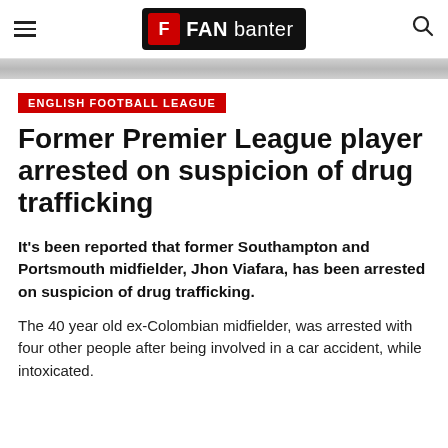FAN banter
ENGLISH FOOTBALL LEAGUE
Former Premier League player arrested on suspicion of drug trafficking
It's been reported that former Southampton and Portsmouth midfielder, Jhon Viafara, has been arrested on suspicion of drug trafficking.
The 40 year old ex-Colombian midfielder, was arrested with four other people after being involved in a car accident, while intoxicated.